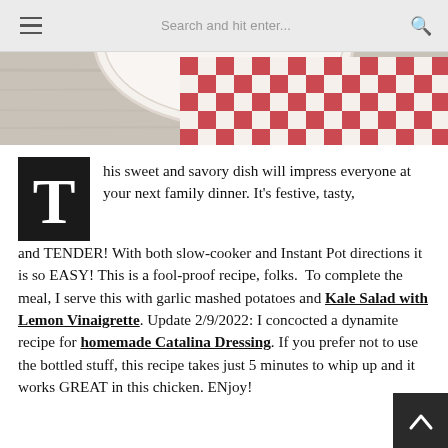Search and hit enter...
[Figure (photo): Top portion of a food photo showing a white plate with red and white checkered cloth/napkin on a wooden surface]
This sweet and savory dish will impress everyone at your next family dinner. It's festive, tasty, and TENDER! With both slow-cooker and Instant Pot directions it is so EASY! This is a fool-proof recipe, folks.  To complete the meal, I serve this with garlic mashed potatoes and Kale Salad with Lemon Vinaigrette. Update 2/9/2022: I concocted a dynamite recipe for homemade Catalina Dressing. If you prefer not to use the bottled stuff, this recipe takes just 5 minutes to whip up and it works GREAT in this chicken. ENjoy!